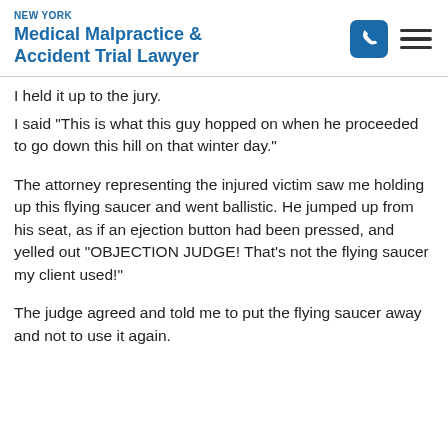NEW YORK Medical Malpractice & Accident Trial Lawyer
I held it up to the jury.
I said "This is what this guy hopped on when he proceeded to go down this hill on that winter day."
The attorney representing the injured victim saw me holding up this flying saucer and went ballistic. He jumped up from his seat, as if an ejection button had been pressed, and yelled out "OBJECTION JUDGE! That's not the flying saucer my client used!"
The judge agreed and told me to put the flying saucer away and not to use it again.